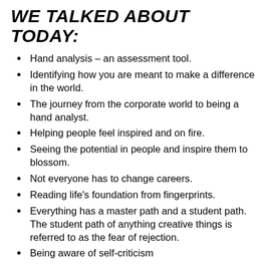WE TALKED ABOUT TODAY:
Hand analysis – an assessment tool.
Identifying how you are meant to make a difference in the world.
The journey from the corporate world to being a hand analyst.
Helping people feel inspired and on fire.
Seeing the potential in people and inspire them to blossom.
Not everyone has to change careers.
Reading life's foundation from fingerprints.
Everything has a master path and a student path. The student path of anything creative things is referred to as the fear of rejection.
Being aware of self-criticism